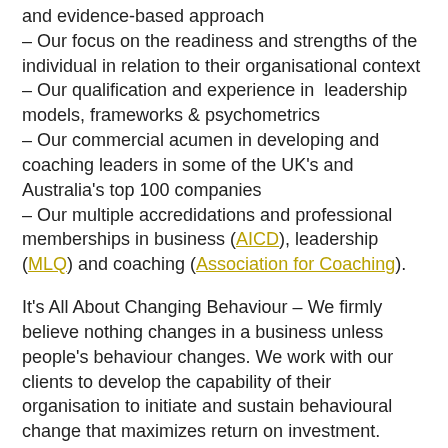– and evidence-based approach
– Our focus on the readiness and strengths of the individual in relation to their organisational context
– Our qualification and experience in leadership models, frameworks & psychometrics
– Our commercial acumen in developing and coaching leaders in some of the UK's and Australia's top 100 companies
– Our multiple accredidations and professional memberships in business (AICD), leadership (MLQ) and coaching (Association for Coaching).
It's All About Changing Behaviour – We firmly believe nothing changes in a business unless people's behaviour changes. We work with our clients to develop the capability of their organisation to initiate and sustain behavioural change that maximizes return on investment. What